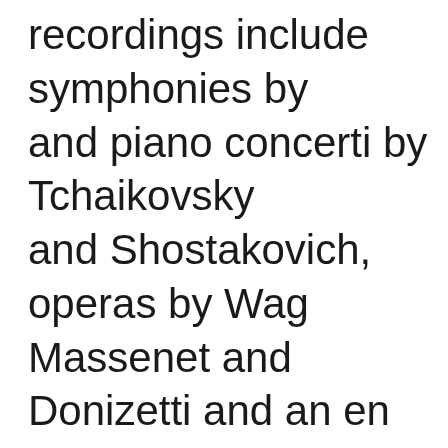recordings include symphonies by and piano concerti by Tchaikovsky and Shostakovich, operas by Wagner, Massenet and Donizetti and an enormous of other works. Works by Verdi (Aida), Tchaikovsky (symphonies), Rimsky-Korsakov (The Tale of Tsar Saltan, The Golden Cockerel), Strauss (Die Frau ohne Schatten), Prokofiev (Romeo and